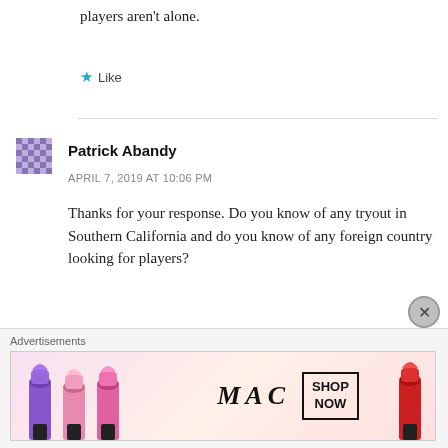players aren't alone.
★ Like
Patrick Abandy
APRIL 7, 2019 AT 10:06 PM
Thanks for your response. Do you know of any tryout in Southern California and do you know of any foreign country looking for players?
★ Like
★ IndyBallIsland
[Figure (infographic): Advertisement banner for MAC cosmetics showing lipsticks and 'SHOP NOW' button]